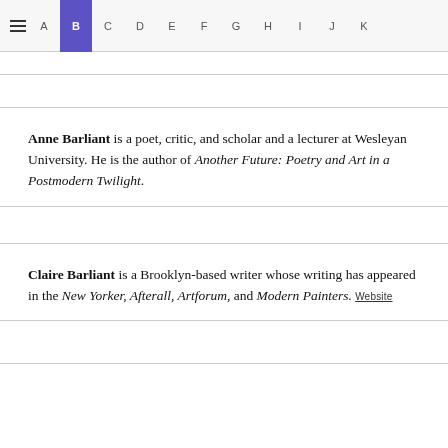≡  A  B  C  D  E  F  G  H  I  J  K
(partial entry above, cut off at top)
Anne Barliant is a poet, critic, and scholar and a lecturer at Wesleyan University. He is the author of Another Future: Poetry and Art in a Postmodern Twilight.
Claire Barliant is a Brooklyn-based writer whose writing has appeared in the New Yorker, Afterall, Artforum, and Modern Painters. Website